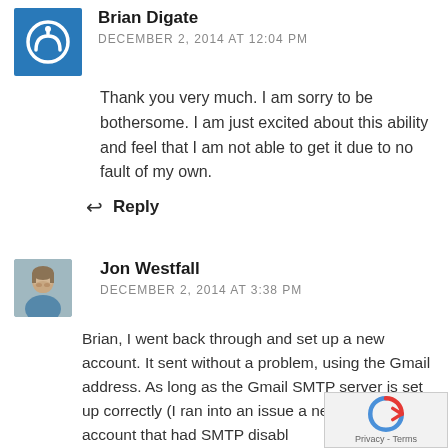Brian Digate
DECEMBER 2, 2014 AT 12:04 PM
Thank you very much. I am sorry to be bothersome. I am just excited about this ability and feel that I am not able to get it due to no fault of my own.
Reply
Jon Westfall
DECEMBER 2, 2014 AT 3:38 PM
Brian, I went back through and set up a new account. It sent without a problem, using the Gmail address. As long as the Gmail SMTP server is set up correctly (I ran into an issue a new Gmail account that had SMTP disabled...